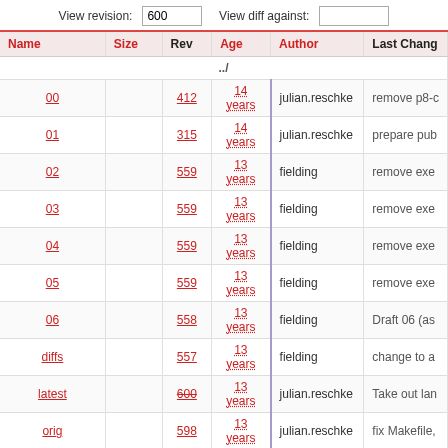View revision: 600   View diff against:
| Name | Size | Rev | Age | Author | Last Chang |
| --- | --- | --- | --- | --- | --- |
| ../ |  |  |  |  |  |
| 00 |  | 412 | 14 years | julian.reschke | remove p8-c |
| 01 |  | 315 | 14 years | julian.reschke | prepare pub |
| 02 |  | 559 | 13 years | fielding | remove exe |
| 03 |  | 559 | 13 years | fielding | remove exe |
| 04 |  | 559 | 13 years | fielding | remove exe |
| 05 |  | 559 | 13 years | fielding | remove exe |
| 06 |  | 558 | 13 years | fielding | Draft 06 (as |
| diffs |  | 557 | 13 years | fielding | change to a |
| latest |  | 600 | 13 years | julian.reschke | Take out lan |
| orig |  | 598 | 13 years | julian.reschke | fix Makefile, |
| myxml2rfc.xslt | 282 bytes | 7 | 15 years | fielding | Wrapper sty |
View changes...
Note: See TracBrowser for help on using the repository browser.
Powered by Trac 1.0.10 By Edgewall Software. | Visit the Trac open source project at http://trac.edgewall.org/